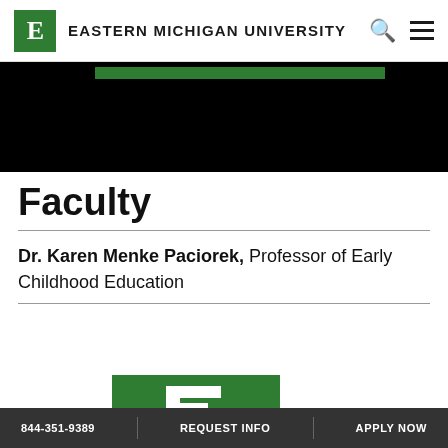Eastern Michigan University
[Figure (illustration): Black hero banner with a green horizontal bar near the top]
Faculty
Dr. Karen Menke Paciorek, Professor of Early Childhood Education
[Figure (logo): Eastern Michigan University green square logo with white E letter]
844-351-9389   REQUEST INFO   APPLY NOW